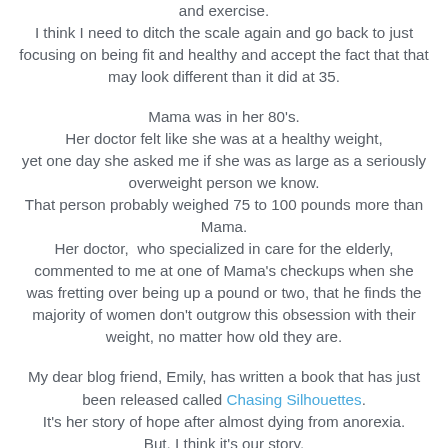and exercise. I think I need to ditch the scale again and go back to just focusing on being fit and healthy and accept the fact that that may look different than it did at 35.
Mama was in her 80's. Her doctor felt like she was at a healthy weight, yet one day she asked me if she was as large as a seriously overweight person we know. That person probably weighed 75 to 100 pounds more than Mama. Her doctor, who specialized in care for the elderly, commented to me at one of Mama's checkups when she was fretting over being up a pound or two, that he finds the majority of women don't outgrow this obsession with their weight, no matter how old they are.
My dear blog friend, Emily, has written a book that has just been released called Chasing Silhouettes. It's her story of hope after almost dying from anorexia. But, I think it's our story. I think it's the story for every little girl who grew up feeling